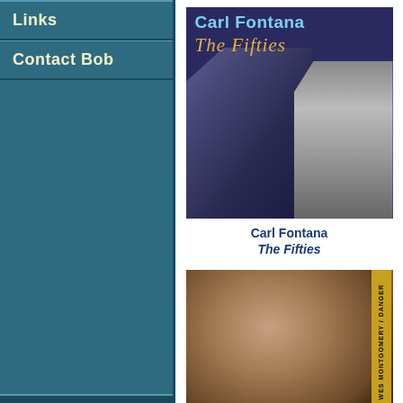Links
Contact Bob
[Figure (photo): Album cover: Carl Fontana - The Fifties. Shows a man playing trombone with album title text.]
Carl Fontana
The Fifties
[Figure (photo): Album cover: Wes Montgomery / Danger. Shows a smiling man portrait in sepia tones with yellow sidebar text.]